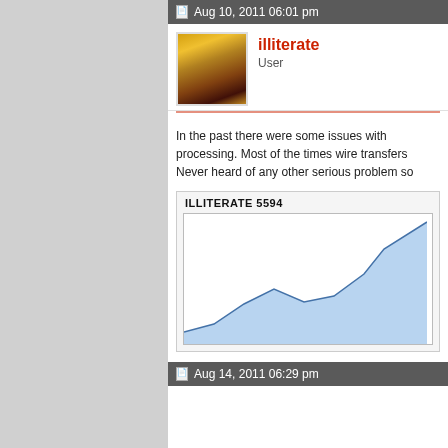Aug 10, 2011 06:01 pm
[Figure (photo): Chess pieces avatar image for user illiterate]
illiterate
User
In the past there were some issues with processing. Most of the times wire transfers Never heard of any other serious problem so
[Figure (line-chart): Area line chart showing an upward trend, partially visible]
Aug 14, 2011 06:29 pm